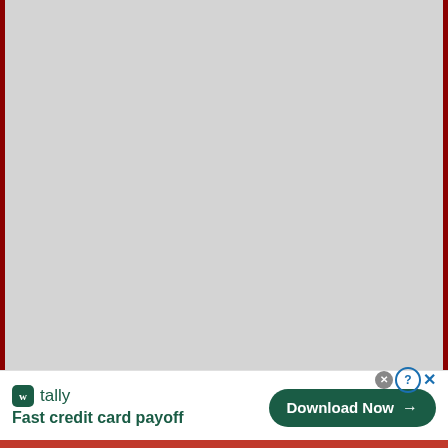[Figure (other): Large gray placeholder rectangle with dark red left and right borders, occupying the upper portion of the page]
tally
Fast credit card payoff
Download Now →